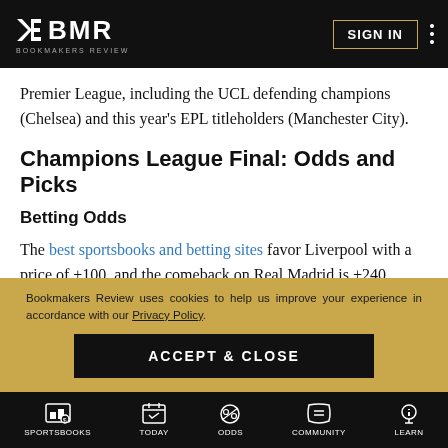BMR Bookmakers Review | SIGN IN
Premier League, including the UCL defending champions (Chelsea) and this year's EPL titleholders (Manchester City).
Champions League Final: Odds and Picks
Betting Odds
The best sportsbooks and betting sites favor Liverpool with a price of +100, and the comeback on Real Madrid is +240.
Bookmakers Review uses cookies to help us improve your experience in accordance with our Privacy Policy.
ACCEPT & CLOSE
SPORTSBOOKS  TODAY  ODDS  COMMUNITY  LEARN